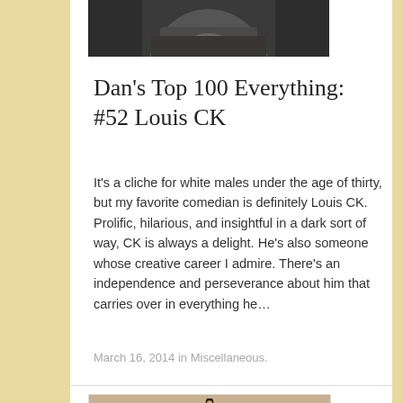[Figure (photo): Top portion of a photo of a person (Louis CK), cropped at the top of the page, dark background]
Dan’s Top 100 Everything: #52 Louis CK
It’s a cliche for white males under the age of thirty, but my favorite comedian is definitely Louis CK. Prolific, hilarious, and insightful in a dark sort of way, CK is always a delight. He’s also someone whose creative career I admire. There’s an independence and perseverance about him that carries over in everything he…
March 16, 2014 in Miscellaneous.
[Figure (illustration): Illustrated portrait of a person with dark hair, partially visible at bottom of page]